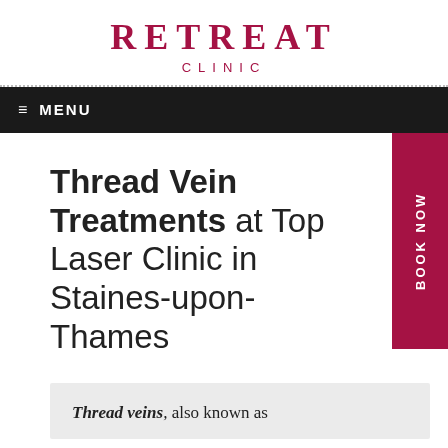RETREAT CLINIC
MENU
Thread Vein Treatments at Top Laser Clinic in Staines-upon-Thames
Thread veins, also known as